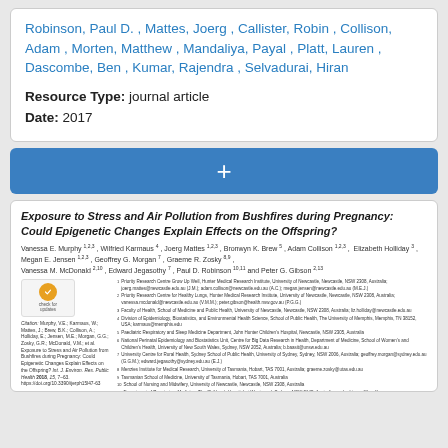Robinson, Paul D. , Mattes, Joerg , Callister, Robin , Collison, Adam , Morten, Matthew , Mandaliya, Payal , Platt, Lauren , Dascombe, Ben , Kumar, Rajendra , Selvadurai, Hiran
Resource Type: journal article
Date: 2017
[Figure (other): Blue bar with a white plus sign, used as an expand/add button UI element]
Exposure to Stress and Air Pollution from Bushfires during Pregnancy: Could Epigenetic Changes Explain Effects on the Offspring?
Vanessa E. Murphy, Wilfried Karmaus, Joerg Mattes, Bronwyn K. Brew, Adam Collison, Elizabeth Holliday, Megan E. Jensen, Geoffrey G. Morgan, Graeme R. Zosky, Vanessa M. McDonald, Edward Jegasothy, Paul D. Robinson and Peter G. Gibson
Affiliations list including Priority Research Centre Grow Up Well, Hunter Medical Research Institute, University of Newcastle and other institutions.